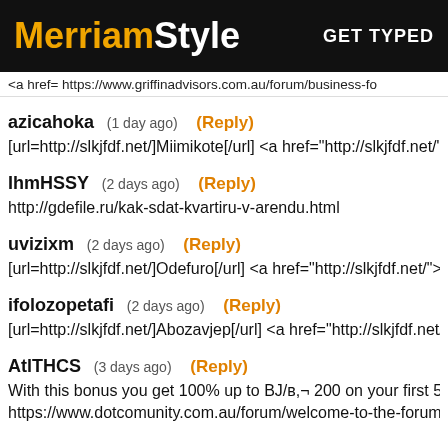MerriamStyle  GET TYPED
<a href= https://www.griffinadvisors.com.au/forum/business-fo
azicahoka  (1 day ago)  (Reply)
[url=http://slkjfdf.net/]Miimikote[/url] <a href="http://slkjfdf.net/">
IhmHSSY  (2 days ago)  (Reply)
http://gdefile.ru/kak-sdat-kvartiru-v-arendu.html
uvizixm  (2 days ago)  (Reply)
[url=http://slkjfdf.net/]Odefuro[/url] <a href="http://slkjfdf.net/">E
ifolozopetafi  (2 days ago)  (Reply)
[url=http://slkjfdf.net/]Abozavjep[/url] <a href="http://slkjfdf.net/">
AtlTHCS  (3 days ago)  (Reply)
With this bonus you get 100% up to BJ/в,¬ 200 on your first 5 d
https://www.dotcomunity.com.au/forum/welcome-to-the-forum/th